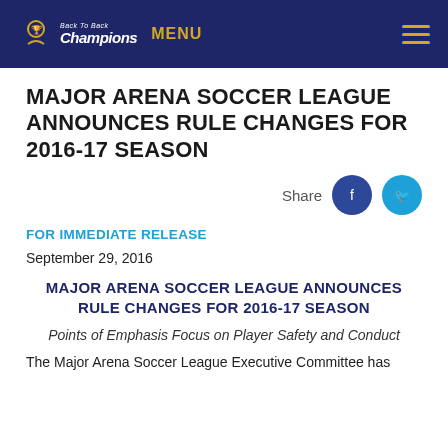Champions MENU
MAJOR ARENA SOCCER LEAGUE ANNOUNCES RULE CHANGES FOR 2016-17 SEASON
[Figure (other): Share buttons: Share label with Facebook and Twitter social media icons]
FOR IMMEDIATE RELEASE
September 29, 2016
MAJOR ARENA SOCCER LEAGUE ANNOUNCES RULE CHANGES FOR 2016-17 SEASON
Points of Emphasis Focus on Player Safety and Conduct
The Major Arena Soccer League Executive Committee has